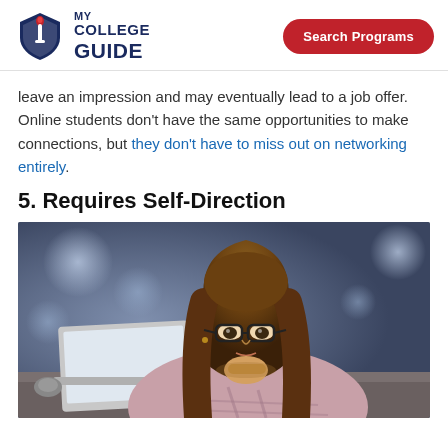MY COLLEGE GUIDE | Search Programs
leave an impression and may eventually lead to a job offer. Online students don't have the same opportunities to make connections, but they don't have to miss out on networking entirely.
5. Requires Self-Direction
[Figure (photo): A young woman with glasses and long hair resting her chin on her hand, looking at a laptop screen. She is wearing a plaid shirt. The background is blurred with bokeh lights.]